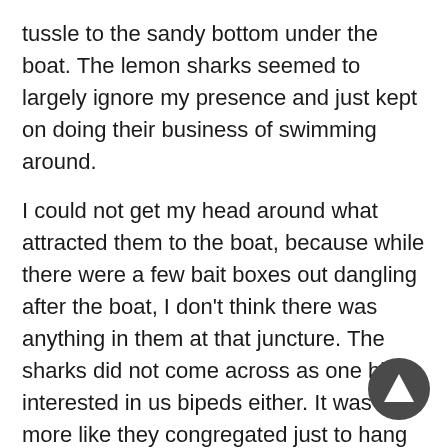tussle to the sandy bottom under the boat. The lemon sharks seemed to largely ignore my presence and just kept on doing their business of swimming around.
I could not get my head around what attracted them to the boat, because while there were a few bait boxes out dangling after the boat, I don't think there was anything in them at that juncture. The sharks did not come across as one bit interested in us bipeds either. It was more like they congregated just to hang out among themselves, although that is pure speculation on my part—however, that was my impression, in this instance.
The lemons are quite graceful, having a very smooth and hydrodynamic body. They don't really interact much, they do not seek out contact, and they don't seem to look much at you as they just slide by looking for… whatever.
At any given time, there were probably around 30 lemon